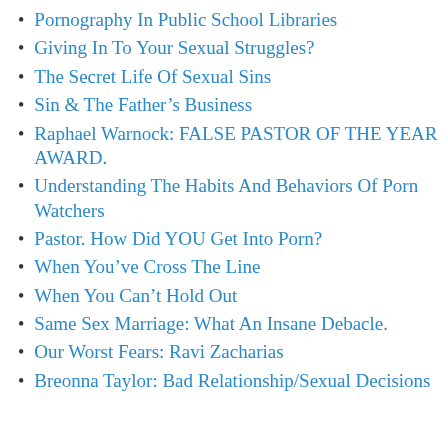Pornography In Public School Libraries
Giving In To Your Sexual Struggles?
The Secret Life Of Sexual Sins
Sin & The Father's Business
Raphael Warnock: FALSE PASTOR OF THE YEAR AWARD.
Understanding The Habits And Behaviors Of Porn Watchers
Pastor. How Did YOU Get Into Porn?
When You've Cross The Line
When You Can't Hold Out
Same Sex Marriage: What An Insane Debacle.
Our Worst Fears: Ravi Zacharias
Breonna Taylor: Bad Relationship/Sexual Decisions